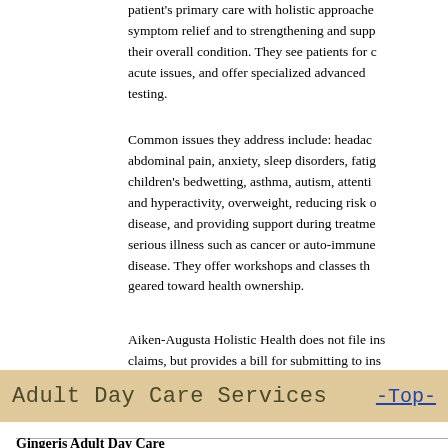patient's primary care with holistic approaches symptom relief and to strengthening and supporting their overall condition. They see patients for acute issues, and offer specialized advanced testing.
Common issues they address include: headaches, abdominal pain, anxiety, sleep disorders, fatigue, children's bedwetting, asthma, autism, attention and hyperactivity, overweight, reducing risk of disease, and providing support during treatment of serious illness such as cancer or auto-immune disease. They offer workshops and classes that are geared toward health ownership.
Aiken-Augusta Holistic Health does not file insurance claims, but provides a bill for submitting to insurance. Please see the Website for more information.
Adult Day Care Services
-Top-
Gingeris Adult Day Care